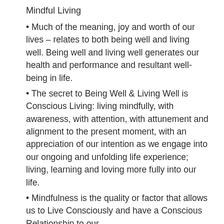Mindful Living
Much of the meaning, joy and worth of our lives – relates to both being well and living well. Being well and living well generates our health and performance and resultant well-being in life.
The secret to Being Well & Living Well is Conscious Living: living mindfully, with awareness, with attention, with attunement and alignment to the present moment, with an appreciation of our intention as we engage into our ongoing and unfolding life experience; living, learning and loving more fully into our life.
Mindfulness is the quality or factor that allows us to Live Consciously and have a Conscious Relationship to our